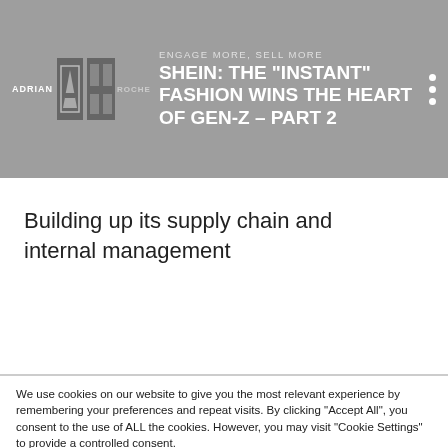SHEIN: THE “INSTANT” FASHION WINS THE HEART OF GEN-Z – PART 2
Building up its supply chain and internal management
We use cookies on our website to give you the most relevant experience by remembering your preferences and repeat visits. By clicking “Accept All”, you consent to the use of ALL the cookies. However, you may visit "Cookie Settings" to provide a controlled consent.